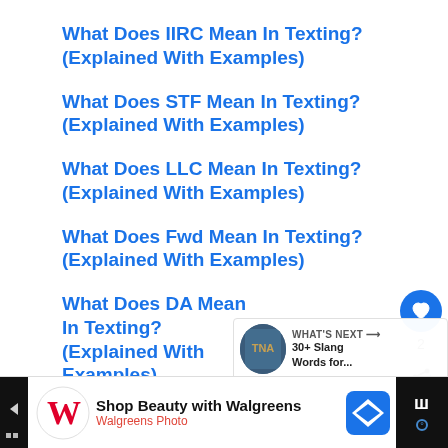What Does IIRC Mean In Texting? (Explained With Examples)
What Does STF Mean In Texting? (Explained With Examples)
What Does LLC Mean In Texting? (Explained With Examples)
What Does Fwd Mean In Texting? (Explained With Examples)
What Does DA Mean In Texting? (Explained With Examples)
[Figure (screenshot): WHAT'S NEXT panel showing '30+ Slang Words for...' with thumbnail]
[Figure (screenshot): Walgreens advertisement bar: Shop Beauty with Walgreens / Walgreens Photo]